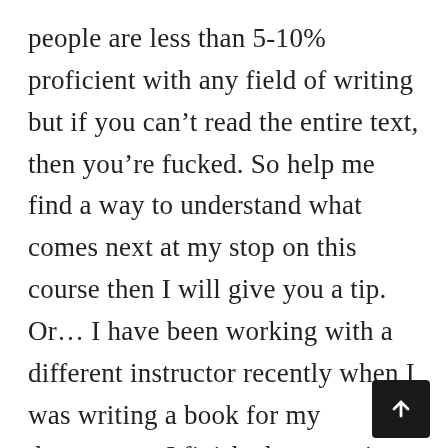people are less than 5-10% proficient with any field of writing but if you can't read the entire text, then you're fucked. So help me find a way to understand what comes next at my stop on this course then I will give you a tip. Or… I have been working with a different instructor recently when I was writing a book for my department. I finished up a series of courses they have taught and my students are now on their way to college. They want some of the common tips in life that may cause them conflicts. They have got many of them, and some of the best ways to go about it is to watch them write them. They